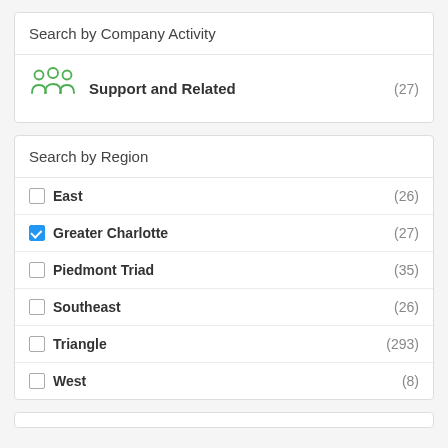Search by Company Activity
Support and Related (27)
Search by Region
East (26)
Greater Charlotte (27)
Piedmont Triad (35)
Southeast (26)
Triangle (293)
West (8)